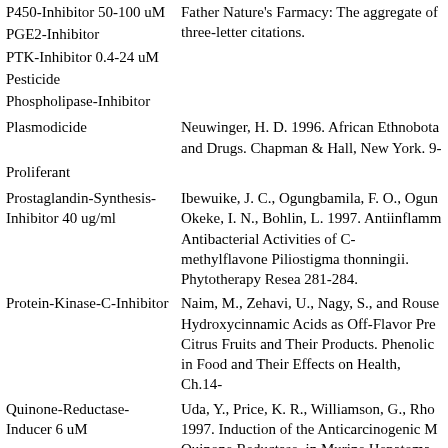P450-Inhibitor 50-100 uM
Father Nature's Farmacy: The aggregate of three-letter citations.
PGE2-Inhibitor
PTK-Inhibitor 0.4-24 uM
Pesticide
Phospholipase-Inhibitor
Plasmodicide
Neuwinger, H. D. 1996. African Ethnobota and Drugs. Chapman & Hall, New York. 9-
Proliferant
Prostaglandin-Synthesis-Inhibitor 40 ug/ml
Ibewuike, J. C., Ogungbamila, F. O., Ogun Okeke, I. N., Bohlin, L. 1997. Antiinflam Antibacterial Activities of C-methylflavone Piliostigma thonningii. Phytotherapy Resea 281-284.
Protein-Kinase-C-Inhibitor
Naim, M., Zehavi, U., Nagy, S., and Rouse Hydroxycinnamic Acids as Off-Flavor Pre Citrus Fruits and Their Products. Phenolic in Food and Their Effects on Health, Ch.14-
Quinone-Reductase-Inducer 6 uM
Uda, Y., Price, K. R., Williamson, G., Rho 1997. Induction of the Anticarcinogenic M Quinone Reductase, in Murine Hepatoma C by Flavonoids. Cancer Lett., 120 (2): 213-